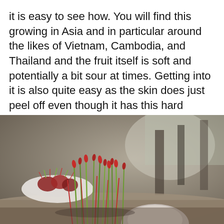it is easy to see how. You will find this growing in Asia and in particular around the likes of Vietnam, Cambodia, and Thailand and the fruit itself is soft and potentially a bit sour at times. Getting into it is also quite easy as the skin does just peel off even though it has this hard looking exterior.
[Figure (photo): Close-up photo of rambutan fruits with spiky red and green tendrils in the foreground, a white bowl of rambutans in the background left, set on a table in a blurred indoor setting.]